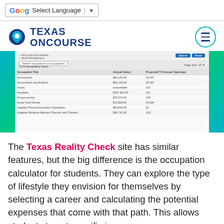Select Language
[Figure (logo): Texas OnCourse logo with pin icon and circular menu button]
[Figure (screenshot): Screenshot of Texas OnCourse occupation search results showing a table with Occupation Title, Annual Salary, and Projected TX Annual Openings columns. Rows include Accountants ($62,100.00, 19,437), Accountants and Auditors ($62,100.00, 19,437), Actors (Unavailable, 219), Actuaries ($167,262.00, 131), Acupuncturists ($70,372.00, 148), Acute Care Nurses ($72,800.00, 15,000), Adapted Physical Education Specialists ($63,843.00, 32).]
The Texas Reality Check site has similar features, but the big difference is the occupation calculator for students. They can explore the type of lifestyle they envision for themselves by selecting a career and calculating the potential expenses that come with that path. This allows students to get specific in